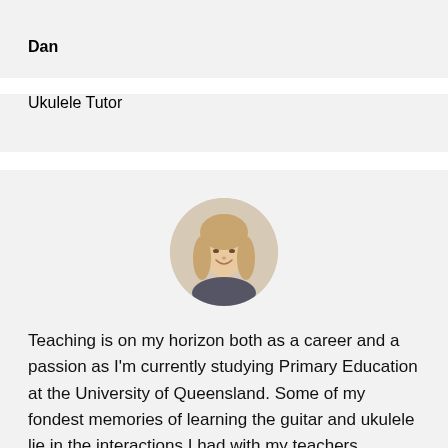Dan
Ukulele Tutor
[Figure (photo): Circular profile photo of a young woman with long blonde hair, smiling, wearing a patterned top, against a light background.]
Teaching is on my horizon both as a career and a passion as I'm currently studying Primary Education at the University of Queensland. Some of my fondest memories of learning the guitar and ukulele lie in the interactions I had with my teachers alongside the care and effort that they put into my learning. Through